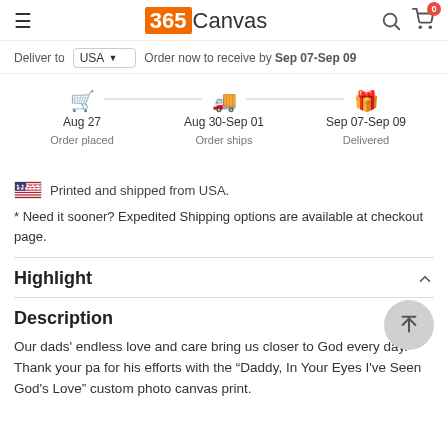365Canvas
Deliver to USA   Order now to receive by Sep 07-Sep 09
[Figure (infographic): Order timeline showing three steps: Order placed Aug 27, Order ships Aug 30-Sep 01, Delivered Sep 07-Sep 09, with icons and connecting lines]
Printed and shipped from USA.
* Need it sooner? Expedited Shipping options are available at checkout page.
Highlight
Description
Our dads' endless love and care bring us closer to God every day. Thank your pa for his efforts with the "Daddy, In Your Eyes I've Seen God's Love" custom photo canvas print.